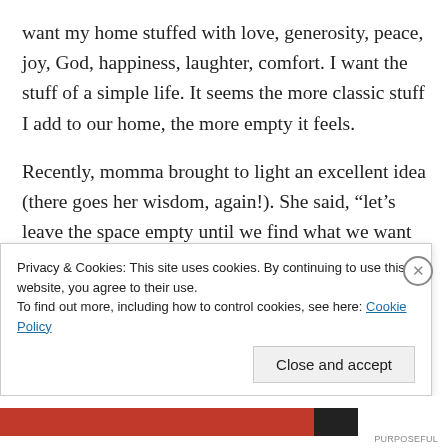want my home stuffed with love, generosity, peace, joy, God, happiness, laughter, comfort. I want the stuff of a simple life. It seems the more classic stuff I add to our home, the more empty it feels.
Recently, momma brought to light an excellent idea (there goes her wisdom, again!). She said, “let’s leave the space empty until we find what we want to fill it”. With each passing day, I adore this idea more and more. Instead of a home filled with stuff for the sake of filling the corners, we’re going to leave those areas
Privacy & Cookies: This site uses cookies. By continuing to use this website, you agree to their use.
To find out more, including how to control cookies, see here: Cookie Policy